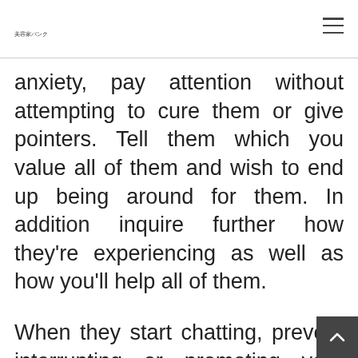美容家バンク
anxiety, pay attention without attempting to cure them or give pointers. Tell them which you value all of them and wish to end up being around for them. In addition inquire further how they're experiencing as well as how you'll help all of them.
When they start chatting, prevent interrupting or promoting your thinking about their thoughts. As an alternative, passionately listen. As long as they say something makes you desire to safegua